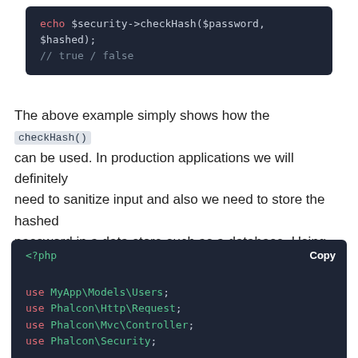[Figure (screenshot): Code block showing: echo $security->checkHash($password, $hashed); // true / false]
The above example simply shows how the checkHash() can be used. In production applications we will definitely need to sanitize input and also we need to store the hashed password in a data store such as a database. Using controllers, the above example can be shown as:
[Figure (screenshot): PHP code block with Copy button showing: <?php, use MyApp\Models\Users;, use Phalcon\Http\Request;, use Phalcon\Mvc\Controller;, use Phalcon\Security;, /**, * @property Request $request, * @property Security $security, */]